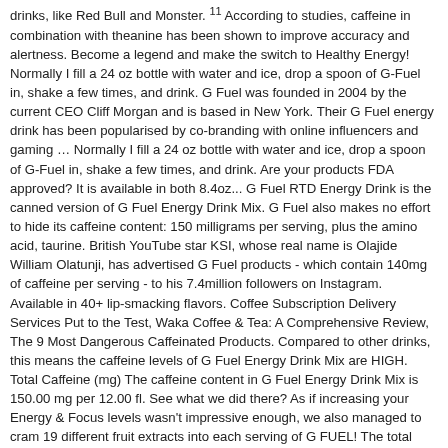drinks, like Red Bull and Monster. ¹¹ According to studies, caffeine in combination with theanine has been shown to improve accuracy and alertness. Become a legend and make the switch to Healthy Energy! Normally I fill a 24 oz bottle with water and ice, drop a spoon of G-Fuel in, shake a few times, and drink. G Fuel was founded in 2004 by the current CEO Cliff Morgan and is based in New York. Their G Fuel energy drink has been popularised by co-branding with online influencers and gaming … Normally I fill a 24 oz bottle with water and ice, drop a spoon of G-Fuel in, shake a few times, and drink. Are your products FDA approved? It is available in both 8.4oz... G Fuel RTD Energy Drink is the canned version of G Fuel Energy Drink Mix. G Fuel also makes no effort to hide its caffeine content: 150 milligrams per serving, plus the amino acid, taurine. British YouTube star KSI, whose real name is Olajide William Olatunji, has advertised G Fuel products - which contain 140mg of caffeine per serving - to his 7.4million followers on Instagram. Available in 40+ lip-smacking flavors. Coffee Subscription Delivery Services Put to the Test, Waka Coffee & Tea: A Comprehensive Review, The 9 Most Dangerous Caffeinated Products. Compared to other drinks, this means the caffeine levels of G Fuel Energy Drink Mix are HIGH. Total Caffeine (mg) The caffeine content in G Fuel Energy Drink Mix is 150.00 mg per 12.00 fl. See what we did there? As if increasing your Energy & Focus levels wasn't impressive enough, we also managed to cram 19 different fruit extracts into each serving of G FUEL! The total amount of caffeine you get per can is on the high side with